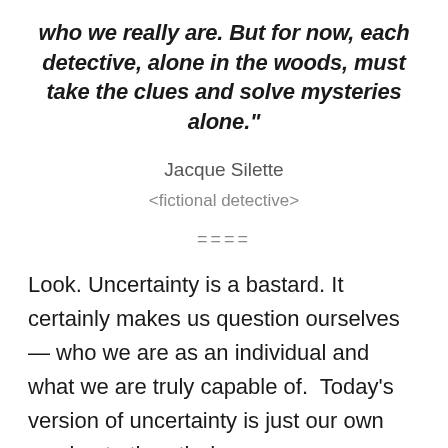who we really are. But for now, each detective, alone in the woods, must take the clues and solve mysteries alone."
Jacque Silette
<fictional detective>
====
Look. Uncertainty is a bastard. It certainly makes us question ourselves — who we are as an individual and what we are truly capable of.  Today's version of uncertainty is just our own version to the nth degree